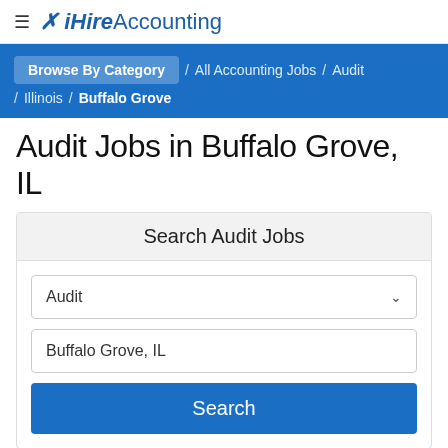≡ iHireAccounting
Browse By Category / All Accounting Jobs / Audit / Illinois / Buffalo Grove
Audit Jobs in Buffalo Grove, IL
Search Audit Jobs
Audit
Buffalo Grove, IL
Search
1-15 of 282 Jobs